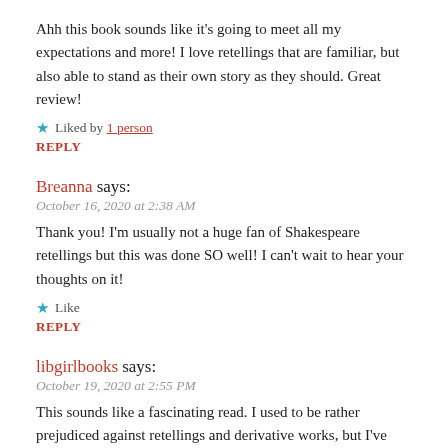Ahh this book sounds like it’s going to meet all my expectations and more! I love retellings that are familiar, but also able to stand as their own story as they should. Great review!
★ Liked by 1 person
REPLY
Breanna says:
October 16, 2020 at 2:38 AM
Thank you! I’m usually not a huge fan of Shakespeare retellings but this was done SO well! I can’t wait to hear your thoughts on it!
★ Like
REPLY
libgirlbooks says:
October 19, 2020 at 2:55 PM
This sounds like a fascinating read. I used to be rather prejudiced against retellings and derivative works, but I’ve found myself